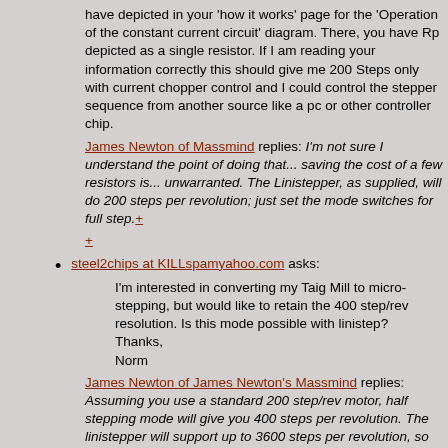have depicted in your 'how it works' page for the 'Operation of the constant current circuit' diagram. There, you have Rp depicted as a single resistor. If I am reading your information correctly this should give me 200 Steps only with current chopper control and I could control the stepper sequence from another source like a pc or other controller chip.
James Newton of Massmind replies: I'm not sure I understand the point of doing that... saving the cost of a few resistors is... unwarranted. The Linistepper, as supplied, will do 200 steps per revolution; just set the mode switches for full step.+
+
steel2chips at KILLspamyahoo.com asks:
I'm interested in converting my Taig Mill to micro-stepping, but would like to retain the 400 step/rev resolution. Is this mode possible with linistep? Thanks, Norm
James Newton of James Newton's Massmind replies: Assuming you use a standard 200 step/rev motor, half stepping mode will give you 400 steps per revolution. The linistepper will support up to 3600 steps per revolution, so 400 is no problem.+
+